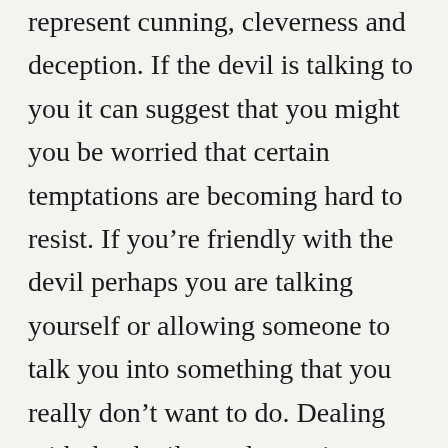represent cunning, cleverness and deception. If the devil is talking to you it can suggest that you might you be worried that certain temptations are becoming hard to resist. If you're friendly with the devil perhaps you are talking yourself or allowing someone to talk you into something that you really don't want to do. Dealing with the devil or a demon in any way within a dream may reflect your need to deal with an